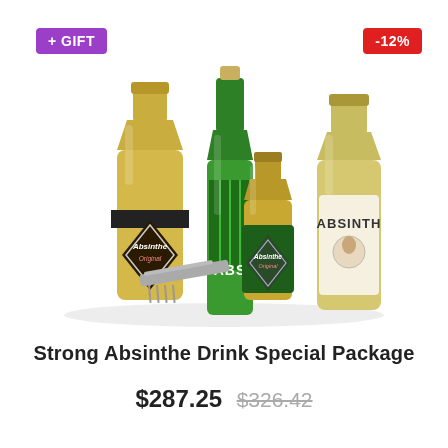+ GIFT
-12%
[Figure (photo): Group of absinthe bottles including Absinthe Original (large and small), a tall green bottle labeled ABS, and an Absinth bottle, with a bar tool in front]
Strong Absinthe Drink Special Package
$287.25  $326.42